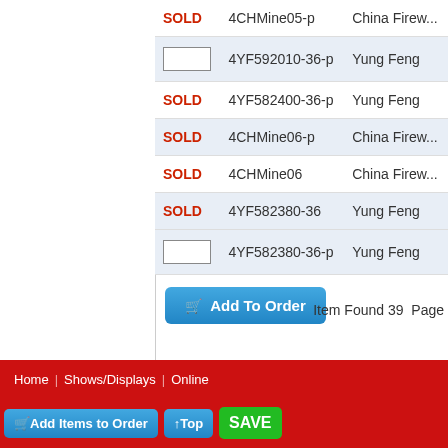| Status | Item Code | Vendor |
| --- | --- | --- |
| SOLD | 4CHMine05-p | China Firew... |
|  | 4YF592010-36-p | Yung Feng |
| SOLD | 4YF582400-36-p | Yung Feng |
| SOLD | 4CHMine06-p | China Firew... |
| SOLD | 4CHMine06 | China Firew... |
| SOLD | 4YF582380-36 | Yung Feng |
|  | 4YF582380-36-p | Yung Feng |
Add To Order
Item Found 39  Page
Home | Shows/Displays | Online ...
Add Items to Order  ↑ Top  SAVE